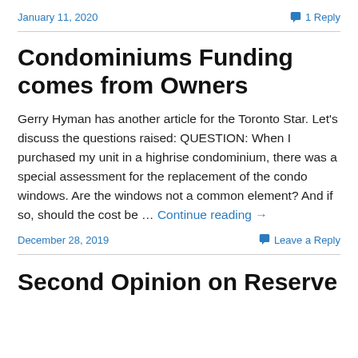January 11, 2020    1 Reply
Condominiums Funding comes from Owners
Gerry Hyman has another article for the Toronto Star. Let's discuss the questions raised: QUESTION:  When I purchased my unit in a highrise condominium, there was a special assessment for the replacement of the condo windows. Are the windows not a common element? And if so, should the cost be … Continue reading →
December 28, 2019    Leave a Reply
Second Opinion on Reserve